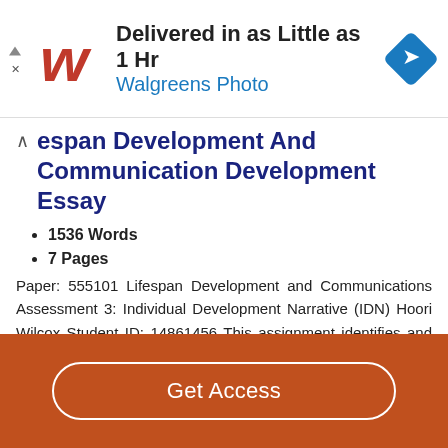[Figure (logo): Walgreens Photo advertisement banner with logo, headline 'Delivered in as Little as 1 Hr', subline 'Walgreens Photo', and a blue navigation icon]
espan Development And Communication Development Essay
1536 Words
7 Pages
Paper: 555101 Lifespan Development and Communications Assessment 3: Individual Development Narrative (IDN) Hoori Wilcox Student ID: 14861456 This assignment identifies and discusses the relevant theory and theorists and discusses the influences possible on lifespan development from the time of conception to 20 years of age. I will analyse my own life story